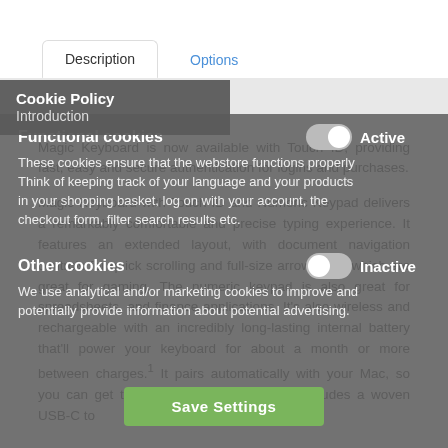Description | Options
Introduction
Magic Keyboard is now available with Touch ID, providing fast, easy and secure authentication for logins and purchases.
Magic Keyboard with Touch ID and Numeric Keypad delivers a remarkably comfortable and precise typing experience. It features an extended layout, with document navigation controls for quick scrolling and full-size arrow keys, which are great for gaming. The numeric keypad is also great for spreadsheets, and finance applications. It's also wireless and rechargeable with an incredibly long-lasting internal battery that'll power your keyboard for about a month or more between charges. It pairs automatically with your Mac, so you can get to work straightaway. And it includes a woven USB-C to
Cookie Policy
Functional cookies
Active
These cookies ensure that the webstore functions properly
Think of keeping track of your language and your products in your shopping basket, log on with your account, the checkout form, filter search results etc.
Other cookies
Inactive
We use analytical and/or marketing cookies to improve and potentially provide information about potential advertising.
Save Settings